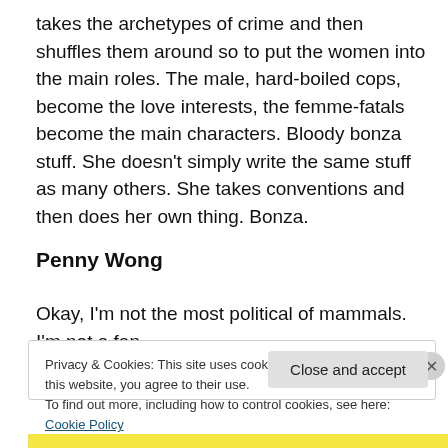takes the archetypes of crime and then shuffles them around so to put the women into the main roles. The male, hard-boiled cops, become the love interests, the femme-fatals become the main characters. Bloody bonza stuff. She doesn't simply write the same stuff as many others. She takes conventions and then does her own thing. Bonza.
Penny Wong
Okay, I'm not the most political of mammals. I'm not a fan
Privacy & Cookies: This site uses cookies. By continuing to use this website, you agree to their use.
To find out more, including how to control cookies, see here: Cookie Policy